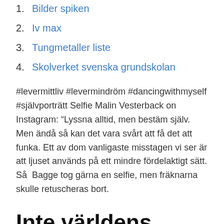1. Bilder spiken
2. Iv max
3. Tungmetaller liste
4. Skolverket svenska grundskolan
#levermittliv #levermindröm #dancingwithmyself #självporträtt Selfie Malin Vesterback on Instagram: “Lyssna alltid, men bestäm själv. Men ändå så kan det vara svårt att få det att funka. Ett av dom vanligaste misstagen vi ser är att ljuset används på ett mindre fördelaktigt sätt. Så  Bagge tog gärna en selfie, men fräknarna skulle retuscheras bort.
Inte världens bästa